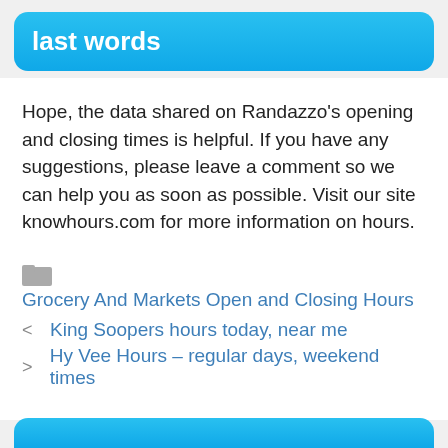last words
Hope, the data shared on Randazzo’s opening and closing times is helpful. If you have any suggestions, please leave a comment so we can help you as soon as possible. Visit our site knowhours.com for more information on hours.
Grocery And Markets Open and Closing Hours
King Soopers hours today, near me
Hy Vee Hours – regular days, weekend times